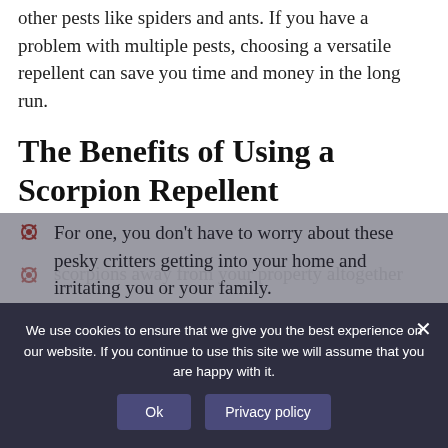other pests like spiders and ants. If you have a problem with multiple pests, choosing a versatile repellent can save you time and money in the long run.
The Benefits of Using a Scorpion Repellent
For one, you don't have to worry about these pesky critters getting into your home and irritating you or your family.
scorpions away from your property altogether
We use cookies to ensure that we give you the best experience on our website. If you continue to use this site we will assume that you are happy with it.